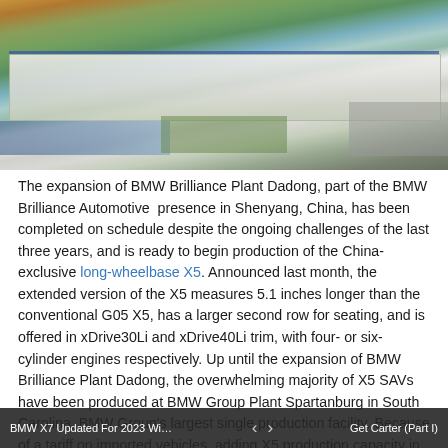[Figure (photo): Aerial photograph of BMW Brilliance Plant Dadong in Shenyang, China. A large industrial facility with white/grey roofed manufacturing buildings arranged in an L-shape, surrounded by green lawns, a canal or river, and parking areas. The sky has warm golden-orange sunset tones.]
The expansion of BMW Brilliance Plant Dadong, part of the BMW Brilliance Automotive  presence in Shenyang, China, has been completed on schedule despite the ongoing challenges of the last three years, and is ready to begin production of the China-exclusive long-wheelbase X5. Announced last month, the extended version of the X5 measures 5.1 inches longer than the conventional G05 X5, has a larger second row for seating, and is offered in xDrive30Li and xDrive40Li trim, with four- or six-cylinder engines respectively. Up until the expansion of BMW Brilliance Plant Dadong, the overwhelming majority of X5 SAVs have been produced at BMW Group Plant Spartanburg in South Carolina, BMW Group's largest single production facility. Because of a tariff on imported vehicles, adding X5 production capacity in China has previously been summarized as having no affect on X5 production
BMW X7 Updated For 2023 With N...   <   >   Get Carter (Part I)